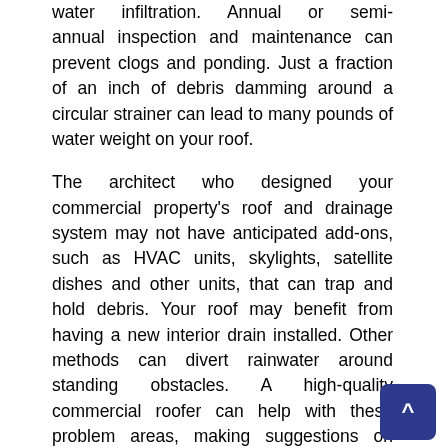water infiltration. Annual or semi-annual inspection and maintenance can prevent clogs and ponding. Just a fraction of an inch of debris damming around a circular strainer can lead to many pounds of water weight on your roof.
The architect who designed your commercial property's roof and drainage system may not have anticipated add-ons, such as HVAC units, skylights, satellite dishes and other units, that can trap and hold debris. Your roof may benefit from having a new interior drain installed. Other methods can divert rainwater around standing obstacles. A high-quality commercial roofer can help with these problem areas, making suggestions on improvements to your drainage system and get it running smoothly.
Contact FlatRoofReplacement.ca today to learn